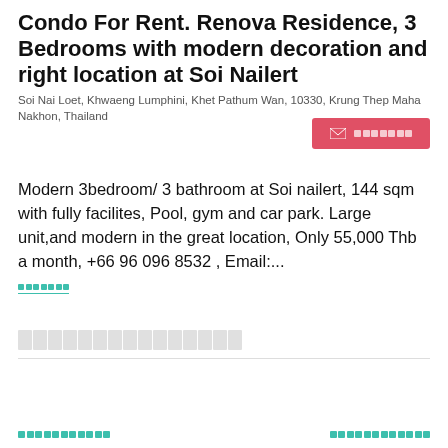Condo For Rent. Renova Residence, 3 Bedrooms with modern decoration and right location at Soi Nailert
Soi Nai Loet, Khwaeng Lumphini, Khet Pathum Wan, 10330, Krung Thep Maha Nakhon, Thailand
Modern 3bedroom/ 3 bathroom at Soi nailert, 144 sqm with fully facilites, Pool, gym and car park. Large unit,and modern in the great location, Only 55,000 Thb a month, +66 96 096 8532 , Email:...
[redacted text block]
[bottom link left] [bottom link right]